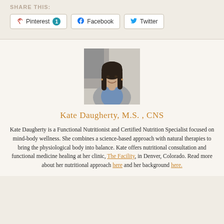SHARE THIS:
Pinterest 1   Facebook   Twitter
[Figure (photo): Portrait photo of Kate Daugherty, a woman with long dark hair, wearing a grey cardigan over a blue shirt, smiling at the camera]
Kate Daugherty, M.S., CNS
Kate Daugherty is a Functional Nutritionist and Certified Nutrition Specialist focused on mind-body wellness. She combines a science-based approach with natural therapies to bring the physiological body into balance. Kate offers nutritional consultation and functional medicine healing at her clinic, The Facility, in Denver, Colorado. Read more about her nutritional approach here and her background here.